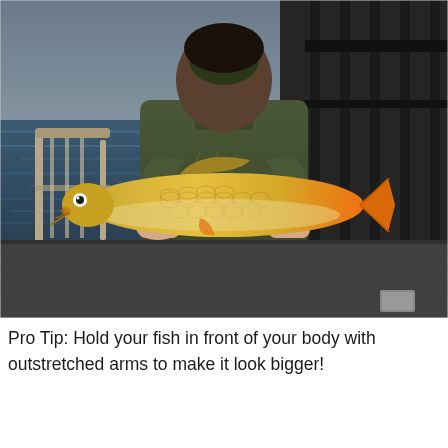[Figure (photo): A person wearing a dark olive/green jacket and jeans standing on a dock or pier, holding a large golden/yellow common carp fish outstretched toward the camera with both hands. Water and dark metal railing visible in the background.]
Pro Tip: Hold your fish in front of your body with outstretched arms to make it look bigger!